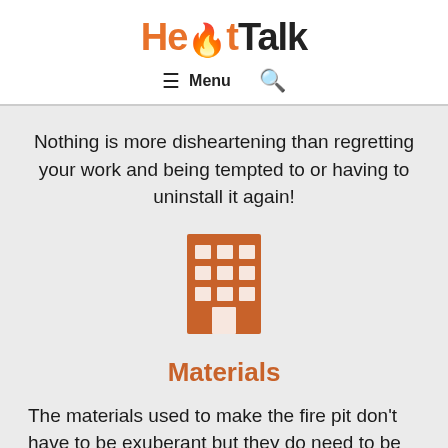HeatTalk
≡ Menu 🔍
Nothing is more disheartening than regretting your work and being tempted to or having to uninstall it again!
[Figure (illustration): Orange building/office block icon]
Materials
The materials used to make the fire pit don't have to be exuberant but they do need to be